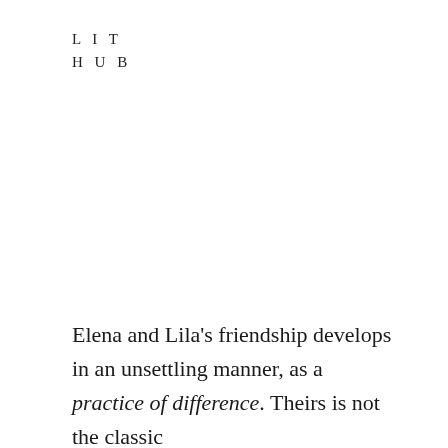LIT
HUB
Elena and Lila's friendship develops in an unsettling manner, as a practice of difference. Theirs is not the classic